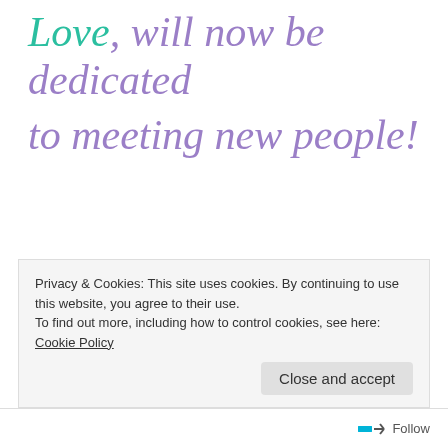Love, will now be dedicated to meeting new people!
You never know who will cross your path, and what purpose they will serve in your live.  In my experience so far with life in general, so many others continue to encourage and inspire me, and many have no idea how much they are appreciated.  Let's take a moment to say hi to someone new, and possibly gain a long-term
Privacy & Cookies: This site uses cookies. By continuing to use this website, you agree to their use.
To find out more, including how to control cookies, see here: Cookie Policy
Close and accept